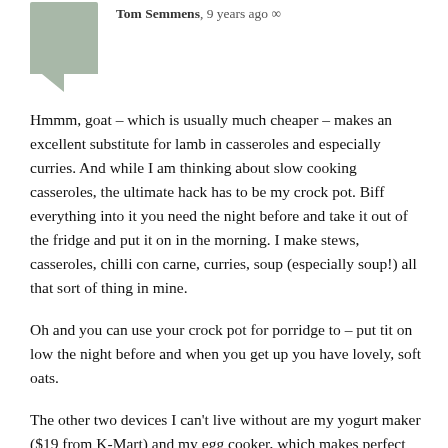Tom Semmens, 9 years ago
Hmmm, goat – which is usually much cheaper – makes an excellent substitute for lamb in casseroles and especially curries. And while I am thinking about slow cooking casseroles, the ultimate hack has to be my crock pot. Biff everything into it you need the night before and take it out of the fridge and put it on in the morning. I make stews, casseroles, chilli con carne, curries, soup (especially soup!) all that sort of thing in mine.
Oh and you can use your crock pot for porridge to – put tit on low the night before and when you get up you have lovely, soft oats.
The other two devices I can't live without are my yogurt maker ($19 from K-Mart) and my egg cooker, which makes perfect boiled eggs every time first thing in the morning with just the flick of a switch.